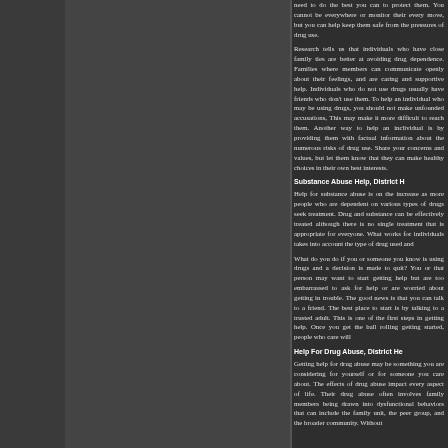need to do the best you can to protect them. You cannot be everywhere or monitor their every move, but you can help keep them safe from the pressures of drug use.
Research tells us that individuals who have close family ties are better at avoiding drug dependence. Families where members can communicate openly about their feelings, and are caring and supportive help. Individuals who do not use drugs usually have friends who don't use them. To help an individual who may be using drugs, you should not make unfounded accusations, This may make it more difficult to reach them. Another way to help an individual is by providing them with factual information about the numerous risks of drug use. Share your concerns and values, but let them know that they can make healthy choices in their own best interests.
Substance Abuse Help, District H
Help for substance abuse is on the increase as more people who are dependent on various types of drugs seek treatment. Drug and substance can be effectively treated although there is no single treatment that is appropriate for everyone. What works for individuals takes into account the type of drug used and
What do you do if you or someone you know is using drugs and a decision is made to quit? You or that person may want to start getting help but are too embarrassed to ask for help or are worried about getting in trouble. The good news is that you can talk to a friend. The best place to start is by talking to a trusted adult. This is one of the first steps in getting help. Once you get the ball rolling getting started, people who care will
Help For Drug Abuse, District He
Getting help for drug abuse may be something you are considering for yourself or for someone you care about. The effects of drug abuse impact every aspect of life. Their drug abuse often involves family members being drawn into dysfunctional behaviors that can impact the family unit, the peer group, and the broader community. Witho